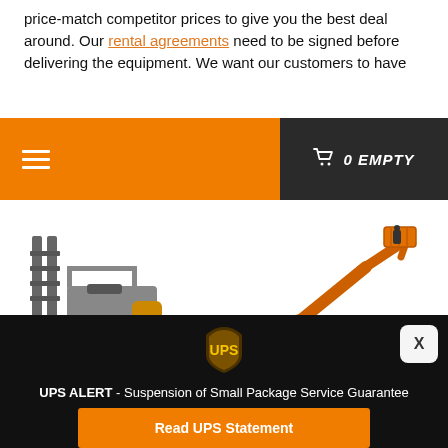price-match competitor prices to give you the best deal around. Our rental agreements need to be signed before delivering the equipment. We want our customers to have
Navigation bar with hamburger menu and cart: 0 EMPTY
[Figure (photo): Forklift equipment on white background]
[Figure (photo): Boom lift / articulating lift equipment on white background]
[Figure (logo): UPS shield logo in brown/gold]
UPS ALERT - Suspension of Small Package Service Guarantee
Read UPS Statement